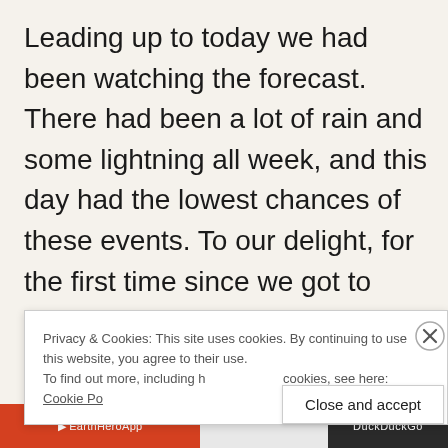Leading up to today we had been watching the forecast. There had been a lot of rain and some lightning all week, and this day had the lowest chances of these events. To our delight, for the first time since we got to Glacier it was a
Privacy & Cookies: This site uses cookies. By continuing to use this website, you agree to their use.
To find out more, including how to control cookies, see here: Cookie Policy
Close and accept